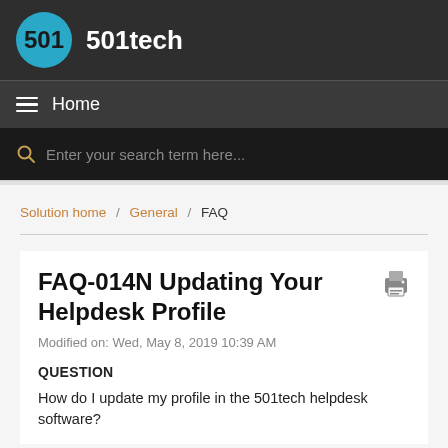501tech
Home
Enter your search term here...
Solution home / General / FAQ
FAQ-014N Updating Your Helpdesk Profile
Modified on: Wed, May 8, 2019 10:39 AM
QUESTION
How do I update my profile in the 501tech helpdesk software?